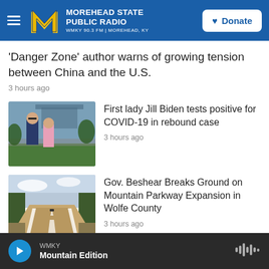Morehead State Public Radio — WMKY 90.3 FM | Morehead, KY — Donate
'Danger Zone' author warns of growing tension between China and the U.S.
3 hours ago
[Figure (photo): Joe Biden and Jill Biden walking together outdoors]
First lady Jill Biden tests positive for COVID-19 in rebound case
3 hours ago
[Figure (photo): A winding highway road through wooded area]
Gov. Beshear Breaks Ground on Mountain Parkway Expansion in Wolfe County
3 hours ago
WMKY — Mountain Edition